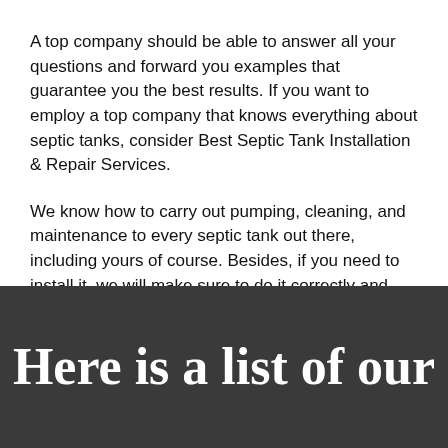A top company should be able to answer all your questions and forward you examples that guarantee you the best results. If you want to employ a top company that knows everything about septic tanks, consider Best Septic Tank Installation & Repair Services.
We know how to carry out pumping, cleaning, and maintenance to every septic tank out there, including yours of course. Besides, if you need to install it, we will make sure to do it correctly and deliver you the best results. Contact us to request your appointment now.
Here is a list of our